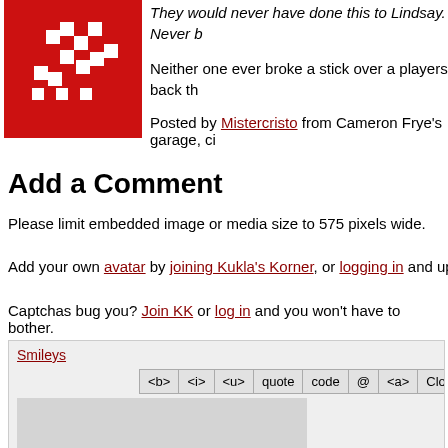[Figure (illustration): Red square avatar with white pixel-art hockey player/mascot logo]
They would never have done this to Lindsay. Never b
Neither one ever broke a stick over a players back th
Posted by Mistercristo from Cameron Frye's garage, ci
Add a Comment
Please limit embedded image or media size to 575 pixels wide.
Add your own avatar by joining Kukla's Korner, or logging in and uploading one in y
Captchas bug you? Join KK or log in and you won't have to bother.
[Figure (screenshot): Comment input area with Smileys link and toolbar buttons: <b>, <i>, <u>, quote, code, @, <a>, Clos]